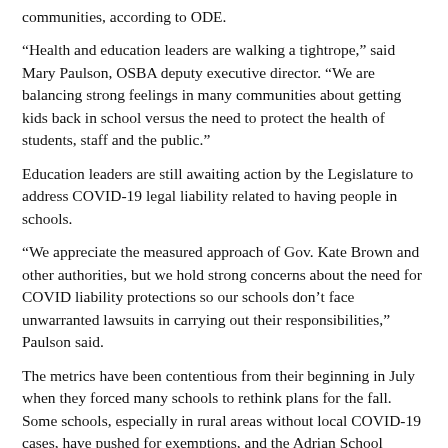communities, according to ODE.
“Health and education leaders are walking a tightrope,” said Mary Paulson, OSBA deputy executive director. “We are balancing strong feelings in many communities about getting kids back in school versus the need to protect the health of students, staff and the public.”
Education leaders are still awaiting action by the Legislature to address COVID-19 legal liability related to having people in schools.
“We appreciate the measured approach of Gov. Kate Brown and other authorities, but we hold strong concerns about the need for COVID liability protections so our schools don’t face unwarranted lawsuits in carrying out their responsibilities,” Paulson said.
The metrics have been contentious from their beginning in July when they forced many schools to rethink plans for the fall. Some schools, especially in rural areas without local COVID-19 cases, have pushed for exemptions, and the Adrian School District sued for the right to hold in-person classes.
ODE offered dozens of exemptions related to the wildfire disruptions, but it has resisted ruling on school situations on a case-by-case basis.
The new guidelines, housed in “Ready Schools, Safe Learners,” give more consideration to local conditions.
Schools can offer K-12 in-person instruction in cohorts of 20 students if their county has fewer than 50 cases per 100,000 people and a test positivity rate below 5%. Cases will be measured over the previous two